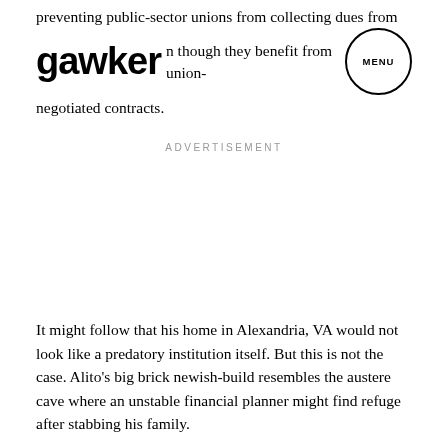preventing public-sector unions from collecting dues from members, even though they benefit from union-negotiated contracts.
gawker MENU
ADVERTISEMENT
It might follow that his home in Alexandria, VA would not look like a predatory institution itself. But this is not the case. Alito’s big brick newish-build resembles the austere cave where an unstable financial planner might find refuge after stabbing his family.